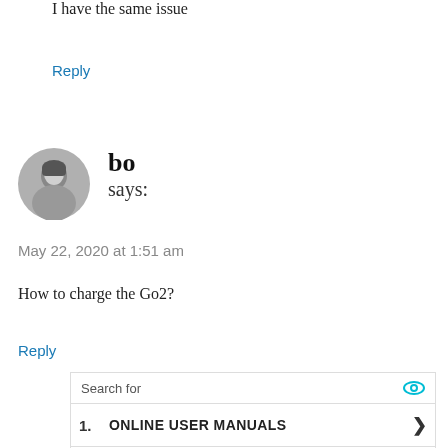I have the same issue
Reply
[Figure (photo): Round avatar photo of user 'bo', grayscale image of a person]
bo says:
May 22, 2020 at 1:51 am
How to charge the Go2?
Reply
[Figure (other): Advertisement box with 'Search for' header, two rows: 1. ONLINE USER MANUALS, 2. ONLINE VIDEO ADVERTISING, footer: Ad | Business Focus]